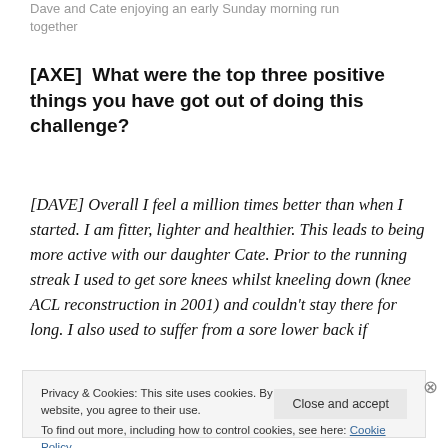Dave and Cate enjoying an early Sunday morning run together
[AXE]  What were the top three positive things you have got out of doing this challenge?
[DAVE] Overall I feel a million times better than when I started. I am fitter, lighter and healthier. This leads to being more active with our daughter Cate. Prior to the running streak I used to get sore knees whilst kneeling down (knee ACL reconstruction in 2001) and couldn't stay there for long. I also used to suffer from a sore lower back if
Privacy & Cookies: This site uses cookies. By continuing to use this website, you agree to their use.
To find out more, including how to control cookies, see here: Cookie Policy
Close and accept